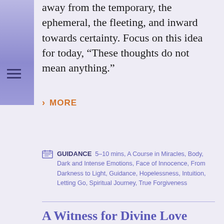away from the temporary, the ephemeral, the fleeting, and inward towards certainty. Focus on this idea for today, “These thoughts do not mean anything.”
MORE
GUIDANCE  5–10 mins, A Course in Miracles, Body, Dark and Intense Emotions, Face of Innocence, From Darkness to Light, Guidance, Hopelessness, Intuition, Letting Go, Spiritual Journey, True Forgiveness
A Witness for Divine Love
The mind that is lost in darkness needs an experience of divine Love to know that there is hope. “A Course in Miracles” is a powerful tool used to witness the light that Jesus brings to the world. We can shine our